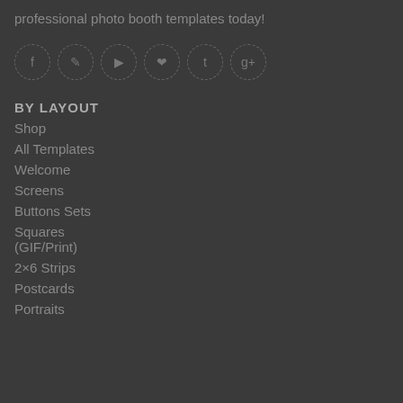professional photo booth templates today!
[Figure (illustration): Six circular dashed-border social media icons in a row: Facebook, Instagram, YouTube, Pinterest, Twitter, Google+]
BY LAYOUT
Shop
All Templates
Welcome
Screens
Buttons Sets
Squares (GIF/Print)
2×6 Strips
Postcards
Portraits